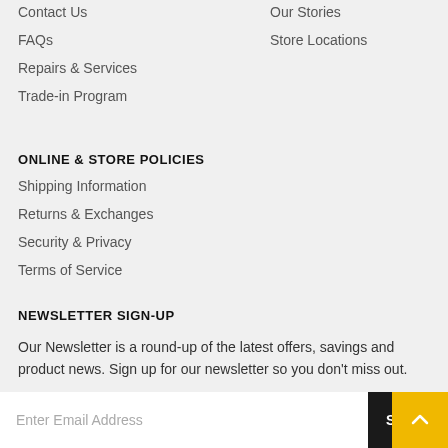Contact Us
Our Stories
FAQs
Store Locations
Repairs & Services
Trade-in Program
ONLINE & STORE POLICIES
Shipping Information
Returns & Exchanges
Security & Privacy
Terms of Service
NEWSLETTER SIGN-UP
Our Newsletter is a round-up of the latest offers, savings and product news. Sign up for our newsletter so you don't miss out.